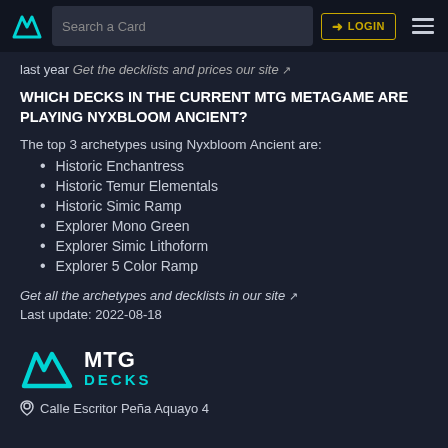MTG Decks — Search a Card | LOGIN
last year Get the decklists and prices our site
WHICH DECKS IN THE CURRENT MTG METAGAME ARE PLAYING NYXBLOOM ANCIENT?
The top 3 archetypes using Nyxbloom Ancient are:
Historic Enchantress
Historic Temur Elementals
Historic Simic Ramp
Explorer Mono Green
Explorer Simic Lithoform
Explorer 5 Color Ramp
Get all the archetypes and decklists in our site
Last update: 2022-08-18
MTG DECKS — Calle Escritor Peña Aquayo 4